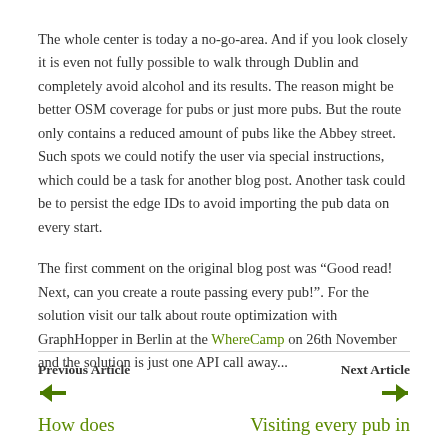The whole center is today a no-go-area. And if you look closely it is even not fully possible to walk through Dublin and completely avoid alcohol and its results. The reason might be better OSM coverage for pubs or just more pubs. But the route only contains a reduced amount of pubs like the Abbey street. Such spots we could notify the user via special instructions, which could be a task for another blog post. Another task could be to persist the edge IDs to avoid importing the pub data on every start.
The first comment on the original blog post was “Good read! Next, can you create a route passing every pub!”. For the solution visit our talk about route optimization with GraphHopper in Berlin at the WhereCamp on 26th November and the solution is just one API call away...
Previous Article | Next Article | How does | Visiting every pub in